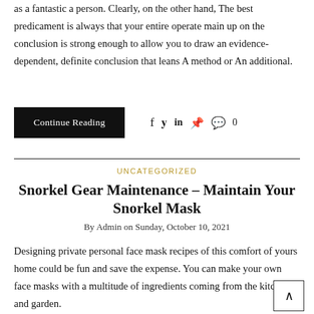as a fantastic a person. Clearly, on the other hand, The best predicament is always that your entire operate main up on the conclusion is strong enough to allow you to draw an evidence-dependent, definite conclusion that leans A method or An additional.
Continue Reading
0
UNCATEGORIZED
Snorkel Gear Maintenance – Maintain Your Snorkel Mask
By Admin on Sunday, October 10, 2021
Designing private personal face mask recipes of this comfort of yours home could be fun and save the expense. You can make your own face masks with a multitude of ingredients coming from the kitchen and garden.

Our life finds its meaning far beyond our individual spheres. The rea